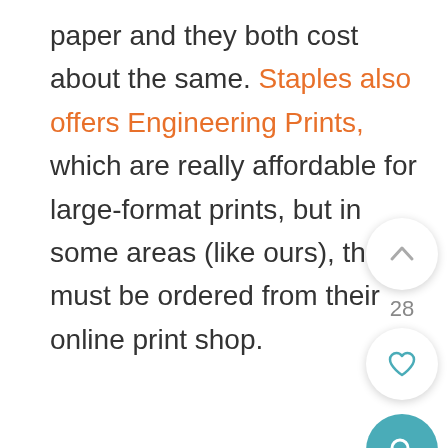paper and they both cost about the same. Staples also offers Engineering Prints, which are really affordable for large-format prints, but in some areas (like ours), they must be ordered from their online print shop.
[Figure (other): UI interaction buttons: upvote arrow circle button, vote count '28', heart/favorite circle button, and teal search magnifying glass circle button]